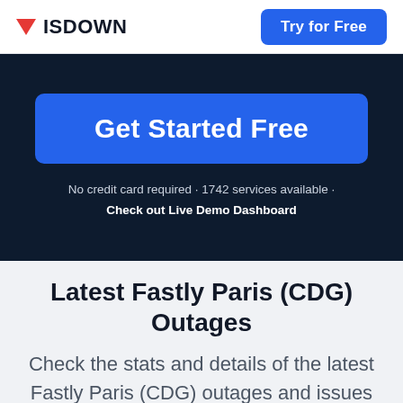ISDOWN  Try for Free
Get Started Free
No credit card required · 1742 services available · Check out Live Demo Dashboard
Latest Fastly Paris (CDG) Outages
Check the stats and details of the latest Fastly Paris (CDG) outages and issues